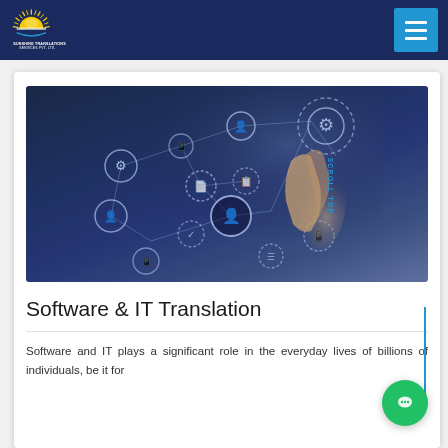Sunshine Translation Services Pvt. Ltd.
[Figure (photo): Technology network concept image showing a hand pointing at connected digital icons including gears, people, mobile devices, and documents on a dark blue background]
Software & IT Translation
Software and IT plays a significant role in the everyday lives of billions of individuals, be it for